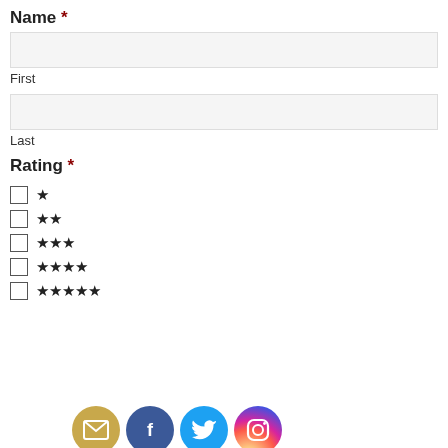Name *
First
Last
Rating *
★
★★
★★★
★★★★
★★★★★